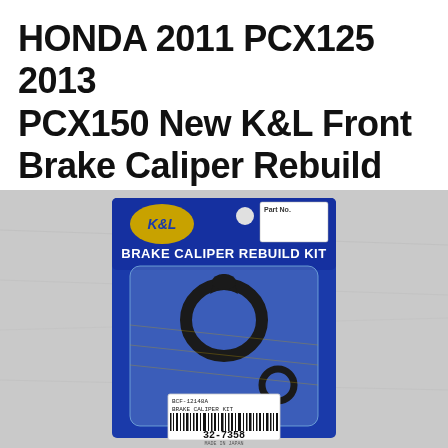HONDA 2011 PCX125 2013 PCX150 New K&L Front Brake Caliper Rebuild Kit 0106-066
[Figure (photo): K&L Brake Caliper Rebuild Kit product package in blue blister packaging. The package shows the K&L logo (gold oval), 'BRAKE CALIPER REBUILD KIT' text in white, and contains brake caliper rubber seals/o-rings visible through the clear blister. A white barcode sticker reads 'BCF-12148A BRAKE CALIPER KIT' with barcode number 32-7358 and 'MADE IN JAPAN'.]